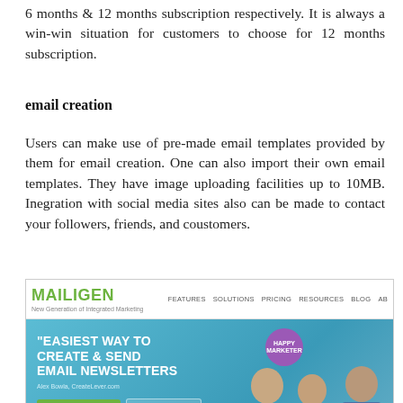6 months & 12 months subscription respectively. It is always a win-win situation for customers to choose for 12 months subscription.
email creation
Users can make use of pre-made email templates provided by them for email creation. One can also import their own email templates. They have image uploading facilities up to 10MB. Inegration with social media sites also can be made to contact your followers, friends, and coustomers.
[Figure (screenshot): Screenshot of the Mailigen website homepage showing the logo, navigation bar with FEATURES, SOLUTIONS, PRICING, RESOURCES, BLOG tabs, and a banner with the text 'EASIEST WAY TO CREATE & SEND EMAIL NEWSLETTERS' with GET STARTED NOW and WATCH INTRO buttons, happy marketer and happy customer badges, and people in the background.]